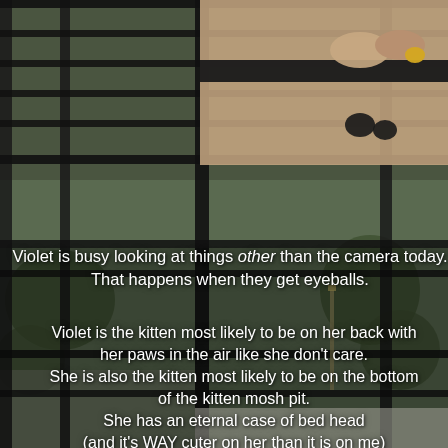[Figure (photo): A close-up photo of a hand with gold-painted nails holding something dark, appearing to be through window blinds with outdoor suburban scene visible below, background of trees and street visible through blinds throughout the image.]
Violet is busy looking at things other than the camera today. That happens when they get eyeballs.
Violet is the kitten most likely to be on her back with her paws in the air like she don't care. She is also the kitten most likely to be on the bottom of the kitten mosh pit. She has an eternal case of bed head (and it's WAY cuter on her than it is on me)
*****
The Kitten-Formerly-Known-as-Number-Five now carries the moniker of